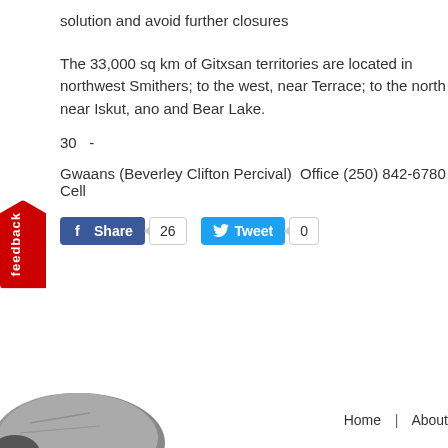solution and avoid further closures
The 33,000 sq km of Gitxsan territories are located in northwest Smithers; to the west, near Terrace; to the north near Iskut, and and Bear Lake.
30 -
Gwaans (Beverley Clifton Percival)  Office (250) 842-6780 Cell
[Figure (screenshot): Social sharing buttons: Facebook Share with count 26, Twitter Tweet with count 0]
[Figure (illustration): Red feedback tab on left side of page]
Home | About
[Figure (photo): Partially visible stones/rocks at bottom left of page]